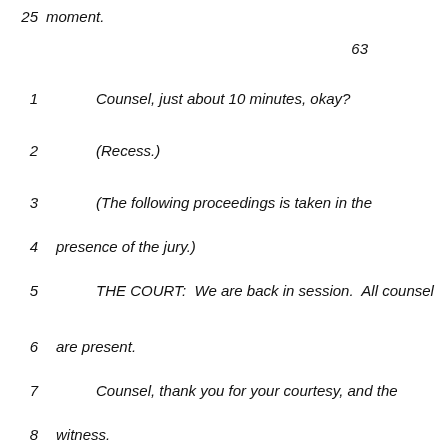25   moment.
63
1        Counsel, just about 10 minutes, okay?
2        (Recess.)
3        (The following proceedings is taken in the
4   presence of the jury.)
5        THE COURT:  We are back in session.  All counsel
6   are present.
7        Counsel, thank you for your courtesy, and the
8   witness.